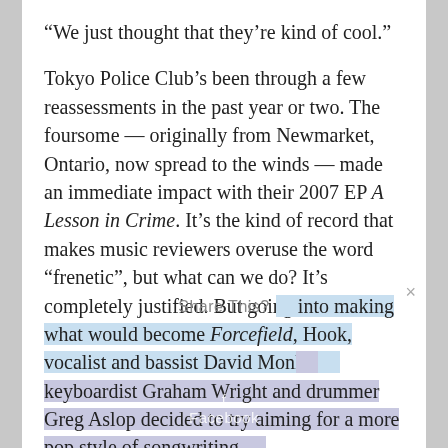“We just thought that they’re kind of cool.”
Tokyo Police Club’s been through a few reassessments in the past year or two. The foursome — originally from Newmarket, Ontario, now spread to the winds — made an immediate impact with their 2007 EP A Lesson in Crime. It’s the kind of record that makes music reviewers overuse the word “frenetic”, but what can we do? It’s completely justified. But going into making what would become Forcefield, Hook, vocalist and bassist David Monks, keyboardist Graham Wright and drummer Greg Aslop decided to try aiming for a more pop style of songwriting.